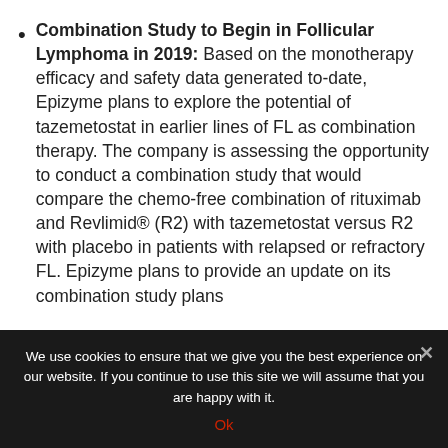Combination Study to Begin in Follicular Lymphoma in 2019: Based on the monotherapy efficacy and safety data generated to-date, Epizyme plans to explore the potential of tazemetostat in earlier lines of FL as combination therapy. The company is assessing the opportunity to conduct a combination study that would compare the chemo-free combination of rituximab and Revlimid® (R2) with tazemetostat versus R2 with placebo in patients with relapsed or refractory FL. Epizyme plans to provide an update on its combination study plans
We use cookies to ensure that we give you the best experience on our website. If you continue to use this site we will assume that you are happy with it.
Ok